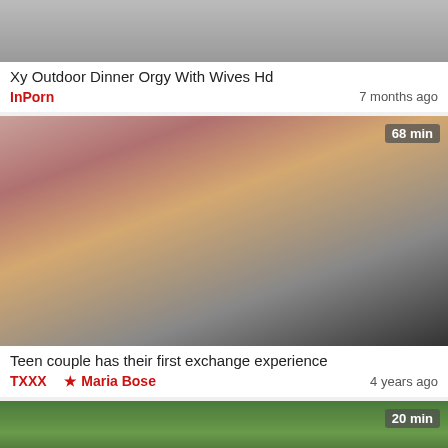[Figure (screenshot): Thumbnail for video: Xy Outdoor Dinner Orgy With Wives Hd]
Xy Outdoor Dinner Orgy With Wives Hd
InPorn   7 months ago
[Figure (screenshot): Thumbnail for video: Teen couple has their first exchange experience, duration 68 min]
Teen couple has their first exchange experience
TXXX  ★ Maria Bose   4 years ago
[Figure (screenshot): Thumbnail for video (partial): outdoor video, duration 20 min, with scroll-up button]